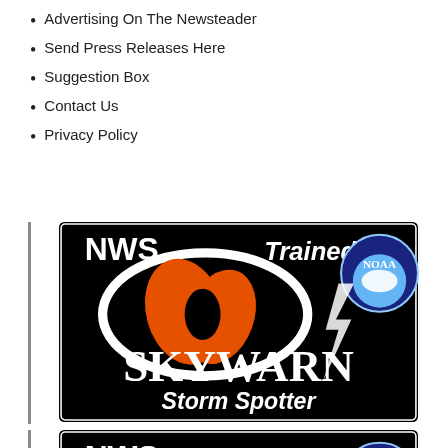Advertising On The Newsteader
Send Press Releases Here
Suggestion Box
Contact Us
Privacy Policy
[Figure (logo): NWS Trained NOAA SKYWARN Storm Spotter badge/logo on black background with orange tornado eye graphic and lightning bolt]
[Figure (logo): Second NWS Trained NOAA SKYWARN badge/logo on black background - same design, partial view showing SKYWARN text]